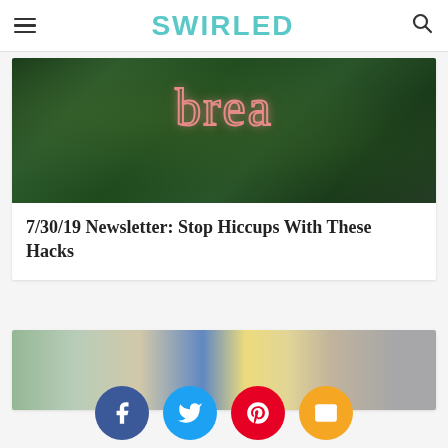SWIRLED
[Figure (photo): Green plant wall with pink neon sign reading 'bread' or similar cursive text]
7/30/19 Newsletter: Stop Hiccups With These Hacks
[Figure (photo): Blurred outdoor scene with people walking and colorful flag/umbrella details]
[Figure (infographic): Social share buttons: Facebook (blue), Twitter (blue), Pinterest (red), Email (orange)]